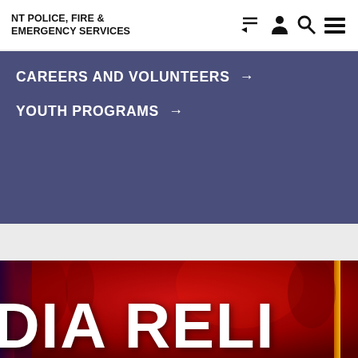NT POLICE, FIRE & EMERGENCY SERVICES
CAREERS AND VOLUNTEERS →
YOUTH PROGRAMS →
[Figure (photo): Red-tinted banner image with large white text reading 'DIA RELI' (partial text, likely 'MEDIA RELEASE')]